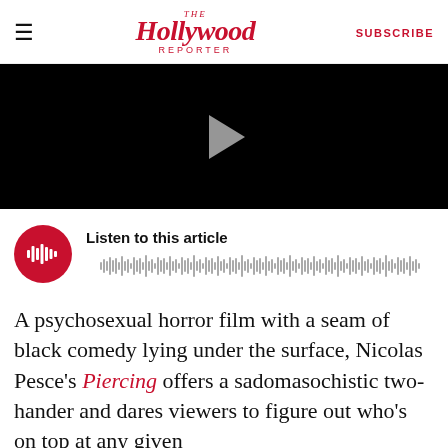The Hollywood Reporter | SUBSCRIBE
[Figure (screenshot): Black video player with a grey play triangle in the center]
Listen to this article (audio waveform player with red play button)
A psychosexual horror film with a seam of black comedy lying under the surface, Nicolas Pesce's Piercing offers a sadomasochistic two-hander and dares viewers to figure out who's on top at any given